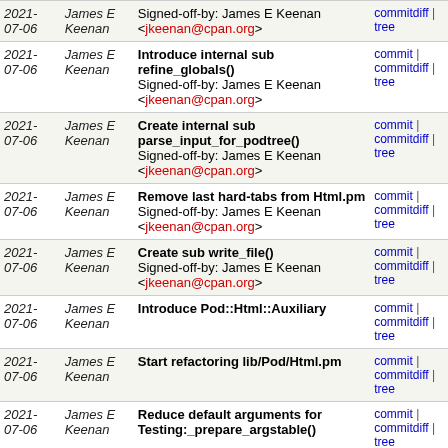| Date | Author | Message | Links |
| --- | --- | --- | --- |
| 2021-07-06 | James E Keenan | Signed-off-by: James E Keenan <jkeenan@cpan.org> | commit | commitdiff | tree |
| 2021-07-06 | James E Keenan | Introduce internal sub refine_globals()
Signed-off-by: James E Keenan <jkeenan@cpan.org> | commit | commitdiff | tree |
| 2021-07-06 | James E Keenan | Create internal sub parse_input_for_podtree()
Signed-off-by: James E Keenan <jkeenan@cpan.org> | commit | commitdiff | tree |
| 2021-07-06 | James E Keenan | Remove last hard-tabs from Html.pm
Signed-off-by: James E Keenan <jkeenan@cpan.org> | commit | commitdiff | tree |
| 2021-07-06 | James E Keenan | Create sub write_file()
Signed-off-by: James E Keenan <jkeenan@cpan.org> | commit | commitdiff | tree |
| 2021-07-06 | James E Keenan | Introduce Pod::Html::Auxiliary | commit | commitdiff | tree |
| 2021-07-06 | James E Keenan | Start refactoring lib/Pod/Html.pm | commit | commitdiff | tree |
| 2021-07-06 | James E Keenan | Reduce default arguments for Testing:_prepare_argstable() | commit | commitdiff | tree |
| 2021-07-06 | James E Keenan | Introduce Testing::record_state_of_cache()
Signed-off-by: James E Keenan <jkeenan@cpan.org> | commit | commitdiff | tree |
| 2021-07-05 | James E Keenan | Eliminate '-Wstring-compare' build-time warning in | commit | commitdiff | tree |